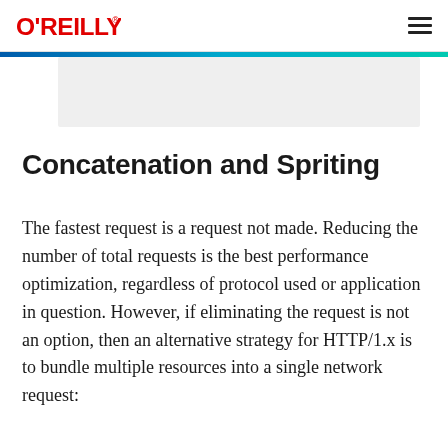O'REILLY
[Figure (other): Partial screenshot or image area at top of page, light gray background]
Concatenation and Spriting
The fastest request is a request not made. Reducing the number of total requests is the best performance optimization, regardless of protocol used or application in question. However, if eliminating the request is not an option, then an alternative strategy for HTTP/1.x is to bundle multiple resources into a single network request: